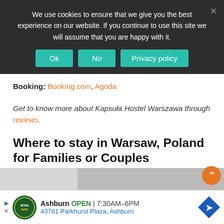We use cookies to ensure that we give you the best experience on our website. If you continue to use this site we will assume that you are happy with it.
Ok | No | Privacy policy
Booking: Booking.com, Agoda
Get to know more about Kapsuła Hostel Warszawa through reviews.
Where to stay in Warsaw, Poland for Families or Couples
Chillout Hostel
[Figure (screenshot): Bottom strip showing partial hotel/hostel image in gray]
[Figure (infographic): Advertisement banner: Ashburn OPEN 7:30AM-6PM, 43781 Parkhurst Plaza, Ashburn with auto service logo and navigation arrow icon]